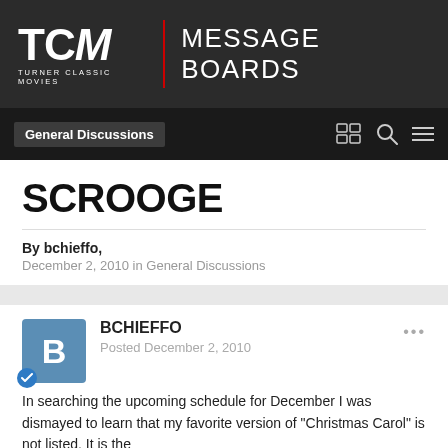TCM | MESSAGE BOARDS
General Discussions
SCROOGE
By bchieffo,
December 2, 2010 in General Discussions
BCHIEFFO
Posted December 2, 2010
In searching the upcoming schedule for December I was dismayed to learn that my favorite version of "Christmas Carol" is not listed. It is the